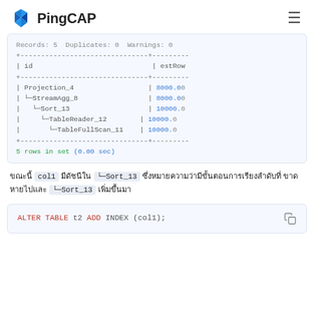PingCAP
Records: 5  Duplicates: 0  Warnings: 0

+-------------------------------+--------
| id                            | estRow
+-------------------------------+--------
| Projection_4                  | 8000.00
| └─StreamAgg_8                 | 8000.00
|   └─Sort_13                   | 10000.0
|     └─TableReader_12          | 10000.0
|       └─TableFullScan_11      | 10000.0
+-------------------------------+--------
5 rows in set (0.00 sec)
ขณะนี้ col1 มีดัชนีใน └─Sort_13 ซึ่งหมายความว่ามีขั้นตอนการเรียงลำดับที่ └─Sort_13 เพิ่มขึ้น
ALTER TABLE t2 ADD INDEX (col1);